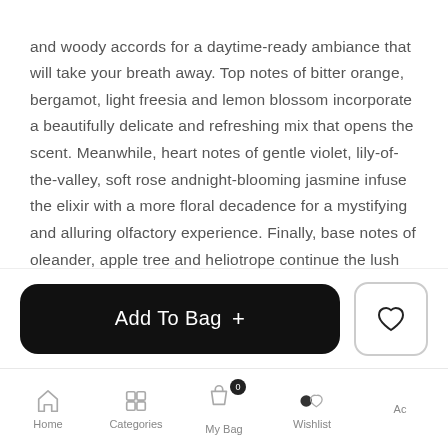and woody accords for a daytime-ready ambiance that will take your breath away. Top notes of bitter orange, bergamot, light freesia and lemon blossom incorporate a beautifully delicate and refreshing mix that opens the scent. Meanwhile, heart notes of gentle violet, lily-of-the-valley, soft rose andnight-blooming jasmine infuse the elixir with a more floral decadence for a mystifying and alluring olfactory experience. Finally, base notes of oleander, apple tree and heliotrope continue the lush garden-esque style, only to be heightened by a touch of spicy cinnamon and soothing Indian sandalwood. Overall, this perfume is undeniably charming and chic, ready to
[Figure (other): Add To Bag button (black, rounded rectangle) with plus icon, and a heart/wishlist button (white rounded square with heart outline icon)]
Home   Categories   My Bag   Wishlist   Account